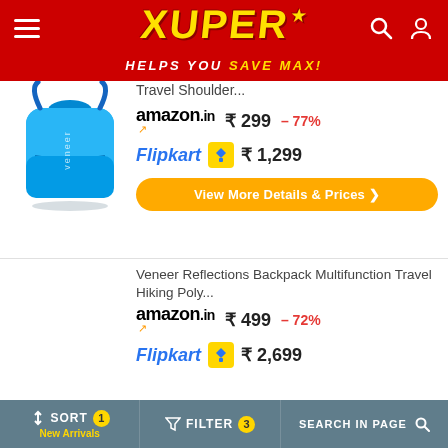[Figure (logo): Xuper app header with hamburger menu, Xuper logo in yellow, search and user icons on red background. Tagline: HELPS YOU SAVE MAX!]
Travel Shoulder...
amazon.in  ₹ 299  – 77%
Flipkart  ₹ 1,299
View More Details & Prices ❯
Veneer Reflections Backpack Multifunction Travel Hiking Poly...
amazon.in  ₹ 499  – 72%
Flipkart  ₹ 2,699
↑↓ SORT 1  New Arrivals    FILTER 3    SEARCH IN PAGE 🔍